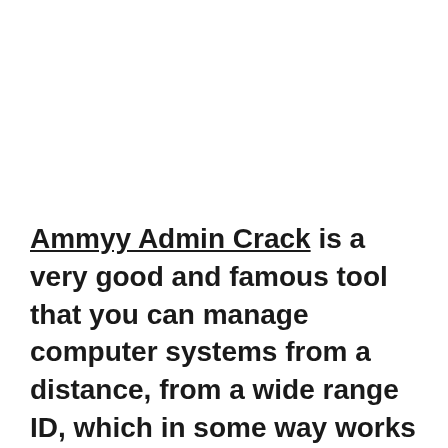Ammyy Admin Crack is a very good and famous tool that you can manage computer systems from a distance, from a wide range ID, which in some way works as a router. Ideal for keeping content utilized by employees within the company, knowing for what purposes your children are using the